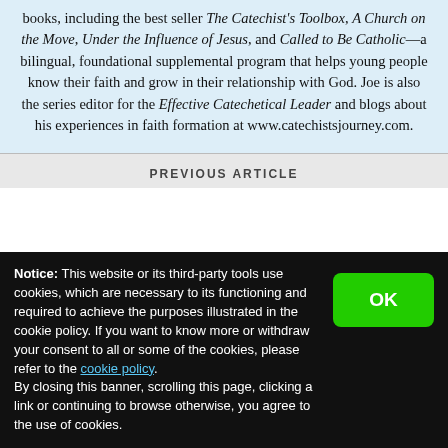books, including the best seller The Catechist's Toolbox, A Church on the Move, Under the Influence of Jesus, and Called to Be Catholic—a bilingual, foundational supplemental program that helps young people know their faith and grow in their relationship with God. Joe is also the series editor for the Effective Catechetical Leader and blogs about his experiences in faith formation at www.catechistsjourney.com.
PREVIOUS ARTICLE
Notice: This website or its third-party tools use cookies, which are necessary to its functioning and required to achieve the purposes illustrated in the cookie policy. If you want to know more or withdraw your consent to all or some of the cookies, please refer to the cookie policy.
By closing this banner, scrolling this page, clicking a link or continuing to browse otherwise, you agree to the use of cookies.